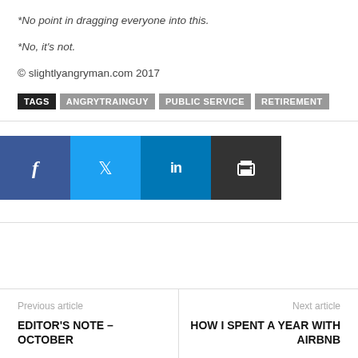*No point in dragging everyone into this.
*No, it's not.
© slightlyangryman.com 2017
TAGS  ANGRYTRAINGUY  PUBLIC SERVICE  RETIREMENT
[Figure (infographic): Social sharing buttons: Facebook (blue), Twitter (light blue), LinkedIn (dark blue), Print (dark gray)]
Previous article
EDITOR'S NOTE – OCTOBER
Next article
HOW I SPENT A YEAR WITH AIRBNB